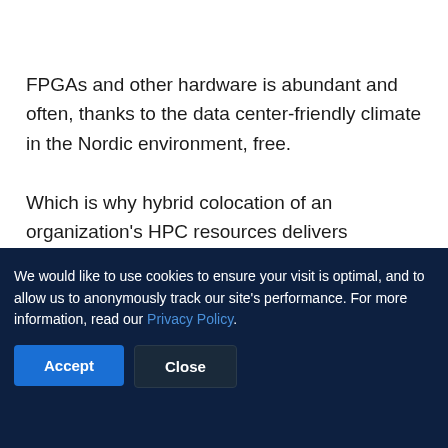atnorth
FPGAs and other hardware is abundant and often, thanks to the data center-friendly climate in the Nordic environment, free.
Which is why hybrid colocation of an organization's HPC resources delivers increased
We would like to use cookies to ensure your visit is optimal, and to allow us to anonymously track our site's performance. For more information, read our Privacy Policy.
Accept   Close